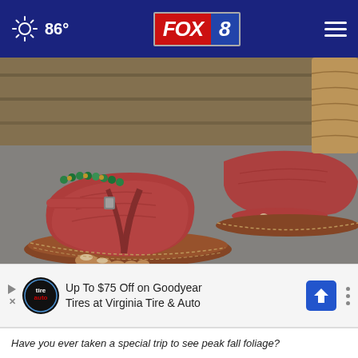86° FOX 8
[Figure (photo): Close-up photo of a person's feet wearing red/crimson textured thong sandals with a wedge sole and ankle strap with buckle; green bead anklet visible; wooden background]
The Sandals for Standing All Day Without Discomfort - Now 60% Off!
Sursell
[Figure (infographic): Advertisement banner: Up To $75 Off on Goodyear Tires at Virginia Tire & Auto with Tire Auto logo and navigation arrow icon]
Have you ever taken a special trip to see peak fall foliage?